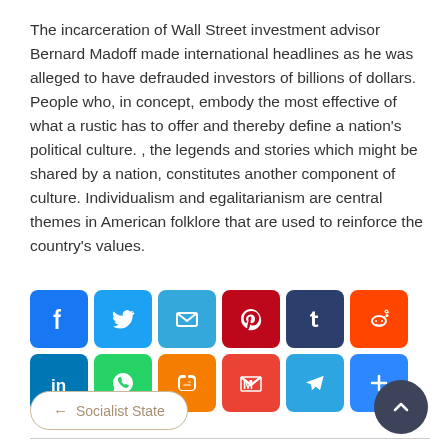The incarceration of Wall Street investment advisor Bernard Madoff made international headlines as he was alleged to have defrauded investors of billions of dollars. People who, in concept, embody the most effective of what a rustic has to offer and thereby define a nation's political culture. , the legends and stories which might be shared by a nation, constitutes another component of culture. Individualism and egalitarianism are central themes in American folklore that are used to reinforce the country's values.
[Figure (infographic): Social media sharing buttons row: Facebook (blue), Twitter (blue), Email (blue), Pinterest (red), Tumblr (dark navy), Reddit (orange-red), LinkedIn (teal), WhatsApp (green), Blogger (orange), Gmail (red), Telegram (blue), More/Plus (blue)]